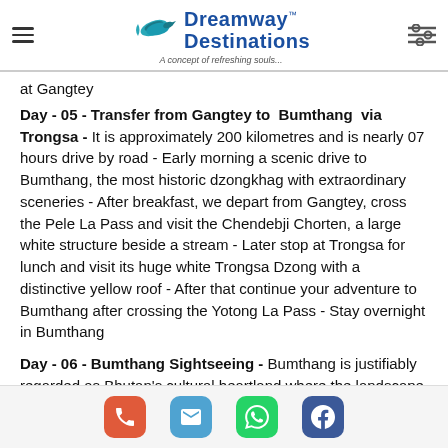Dreamway Destinations - A concept of refreshing souls...
at Gangtey
Day - 05 - Transfer from Gangtey to Bumthang via Trongsa - It is approximately 200 kilometres and is nearly 07 hours drive by road - Early morning a scenic drive to Bumthang, the most historic dzongkhag with extraordinary sceneries - After breakfast, we depart from Gangtey, cross the Pele La Pass and visit the Chendebji Chorten, a large white structure beside a stream - Later stop at Trongsa for lunch and visit its huge white Trongsa Dzong with a distinctive yellow roof - After that continue your adventure to Bumthang after crossing the Yotong La Pass - Stay overnight in Bumthang
Day - 06 - Bumthang Sightseeing - Bumthang is justifiably regarded as Bhutan's cultural heartland where the landscape is dotted with palaces, ancient temples and monasteries - We will take the whole
Phone | Email | WhatsApp | Facebook